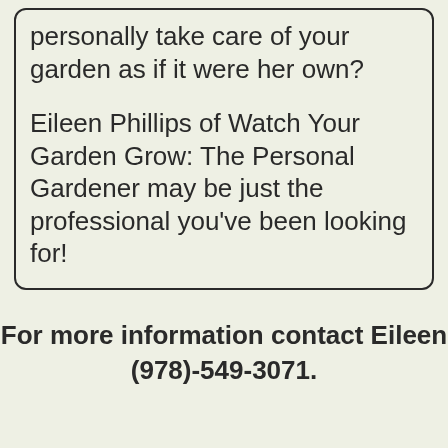personally take care of your garden as if it were her own?

Eileen Phillips of Watch Your Garden Grow: The Personal Gardener may be just the professional you've been looking for!
For more information contact Eileen (978)-549-3071.